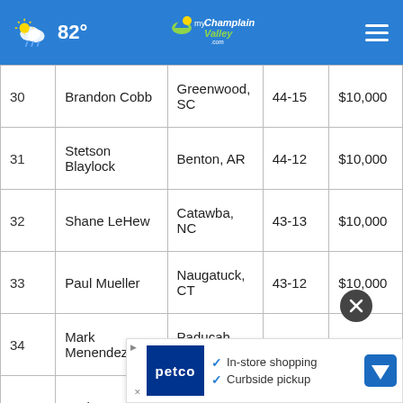82° myChamplainValley.com
|  | Name | Location | Score | Prize |
| --- | --- | --- | --- | --- |
| 30 | Brandon Cobb | Greenwood, SC | 44-15 | $10,000 |
| 31 | Stetson Blaylock | Benton, AR | 44-12 | $10,000 |
| 32 | Shane LeHew | Catawba, NC | 43-13 | $10,000 |
| 33 | Paul Mueller | Naugatuck, CT | 43-12 | $10,000 |
| 34 | Mark Menendez | Paducah, KY | 43-09 | $10,000 |
| 35 | Carl Jocumsen | Queensland, Australia | 43-07 | $1… |
| 36 |  |  |  |  |
[Figure (infographic): Petco advertisement overlay: In-store shopping and Curbside pickup]